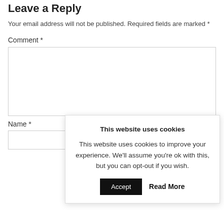Leave a Reply
Your email address will not be published. Required fields are marked *
Comment *
Name *
This website uses cookies
This website uses cookies to improve your experience. We'll assume you're ok with this, but you can opt-out if you wish.
Accept
Read More